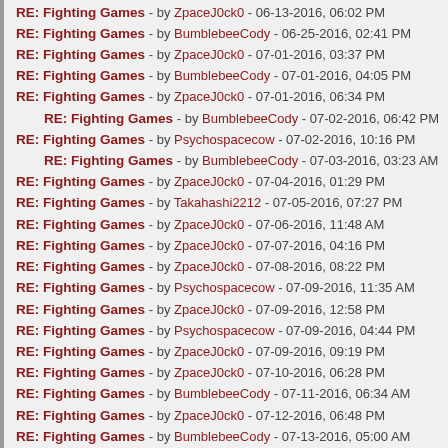RE: Fighting Games - by ZpaceJ0ck0 - 06-13-2016, 06:02 PM
RE: Fighting Games - by BumblebeeCody - 06-25-2016, 02:41 PM
RE: Fighting Games - by ZpaceJ0ck0 - 07-01-2016, 03:37 PM
RE: Fighting Games - by BumblebeeCody - 07-01-2016, 04:05 PM
RE: Fighting Games - by ZpaceJ0ck0 - 07-01-2016, 06:34 PM
RE: Fighting Games - by BumblebeeCody - 07-02-2016, 06:42 PM
RE: Fighting Games - by Psychospacecow - 07-02-2016, 10:16 PM
RE: Fighting Games - by BumblebeeCody - 07-03-2016, 03:23 AM
RE: Fighting Games - by ZpaceJ0ck0 - 07-04-2016, 01:29 PM
RE: Fighting Games - by Takahashi2212 - 07-05-2016, 07:27 PM
RE: Fighting Games - by ZpaceJ0ck0 - 07-06-2016, 11:48 AM
RE: Fighting Games - by ZpaceJ0ck0 - 07-07-2016, 04:16 PM
RE: Fighting Games - by ZpaceJ0ck0 - 07-08-2016, 08:22 PM
RE: Fighting Games - by Psychospacecow - 07-09-2016, 11:35 AM
RE: Fighting Games - by ZpaceJ0ck0 - 07-09-2016, 12:58 PM
RE: Fighting Games - by Psychospacecow - 07-09-2016, 04:44 PM
RE: Fighting Games - by ZpaceJ0ck0 - 07-09-2016, 09:19 PM
RE: Fighting Games - by ZpaceJ0ck0 - 07-10-2016, 06:28 PM
RE: Fighting Games - by BumblebeeCody - 07-11-2016, 06:34 AM
RE: Fighting Games - by ZpaceJ0ck0 - 07-12-2016, 06:48 PM
RE: Fighting Games - by BumblebeeCody - 07-13-2016, 05:00 AM
RE: Fighting Games - by ZpaceJ0ck0 - 07-13-2016, 02:23 PM
RE: Fighting Games - by ZpaceJ0ck0 - 07-15-2016, 07:33 AM
RE: Fighting Games - by ZpaceJ0ck0 - 07-15-2016, 10:00 AM
RE: Fighting Games - by ZpaceJ0ck0 - 07-17-2016, 05:26 PM